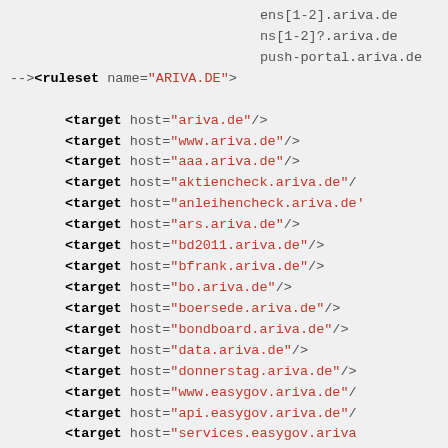ens[1-2].ariva.de
ns[1-2]?.ariva.de
push-portal.ariva.de
--><ruleset name="ARIVA.DE">

        <target host="ariva.de"/>
        <target host="www.ariva.de"/>
        <target host="aaa.ariva.de"/>
        <target host="aktiencheck.ariva.de"/>
        <target host="anleihencheck.ariva.de"/>
        <target host="ars.ariva.de"/>
        <target host="bd2011.ariva.de"/>
        <target host="bfrank.ariva.de"/>
        <target host="bo.ariva.de"/>
        <target host="boersede.ariva.de"/>
        <target host="bondboard.ariva.de"/>
        <target host="data.ariva.de"/>
        <target host="donnerstag.ariva.de"/>
        <target host="www.easygov.ariva.de"/>
        <target host="api.easygov.ariva.de"/>
        <target host="services.easygov.ariva
        <target host="www.test.easygov.ariva
        <target host="fc2011.ariva.de"/>
        <target host="finanzen.ariva.de"/>
        <target host="finneu.ariva.de"/>
        <target host="ftp.ariva.de"/>
        <target host="futureforum.ariva.de"/>
        <target host="irpaket.ariva.de"/>
        <target host="m.ariva.de"/>
        <target host="newratings.ariva.de"/>